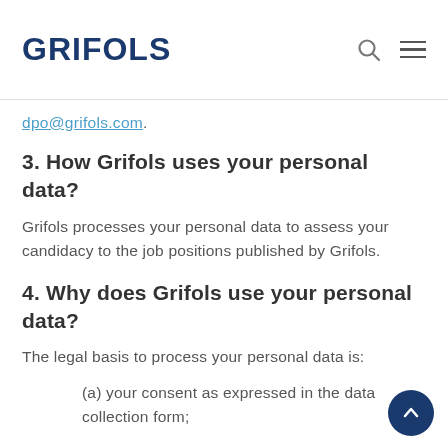GRIFOLS
dpo@grifols.com.
3. How Grifols uses your personal data?
Grifols processes your personal data to assess your candidacy to the job positions published by Grifols.
4. Why does Grifols use your personal data?
The legal basis to process your personal data is:
(a) your consent as expressed in the data collection form;